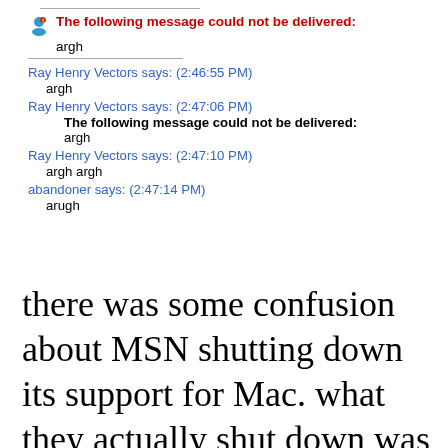[Figure (screenshot): MSN Messenger chat screenshot showing an error message 'The following message could not be delivered: argh' followed by chat messages from Ray Henry Vectors and abandoner about the message delivery failure.]
there was some confusion about MSN shutting down its support for Mac. what they actually shut down was support for the client side software for MSN, which is not MSN messenger, though one might wonder, hence confusion.